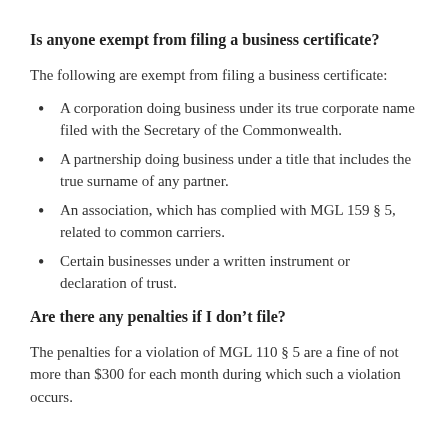Is anyone exempt from filing a business certificate?
The following are exempt from filing a business certificate:
A corporation doing business under its true corporate name filed with the Secretary of the Commonwealth.
A partnership doing business under a title that includes the true surname of any partner.
An association, which has complied with MGL 159 § 5, related to common carriers.
Certain businesses under a written instrument or declaration of trust.
Are there any penalties if I don't file?
The penalties for a violation of MGL 110 § 5 are a fine of not more than $300 for each month during which such a violation occurs.